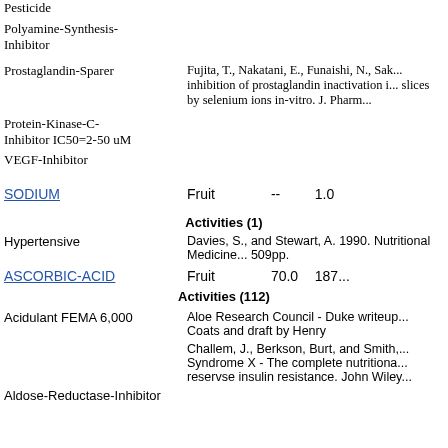Pesticide
Polyamine-Synthesis-Inhibitor
Prostaglandin-Sparer
Fujita, T., Nakatani, E., Funaishi, N., Sak... inhibition of prostaglandin inactivation i... slices by selenium ions in-vitro. J. Pharm...
Protein-Kinase-C-Inhibitor IC50=2-50 uM
VEGF-Inhibitor
SODIUM    Fruit    --    1.0
Activities (1)
Hypertensive
Davies, S., and Stewart, A. 1990. Nutritional Medicine... 509pp.
ASCORBIC-ACID    Fruit    70.0    187...
Activities (112)
Acidulant FEMA 6,000
Aloe Research Council - Duke writeup... Coats and draft by Henry
Challem, J., Berkson, Burt, and Smith,... Syndrome X - The complete nutritiona... reservse insulin resistance. John Wiley...
Aldose-Reductase-Inhibitor